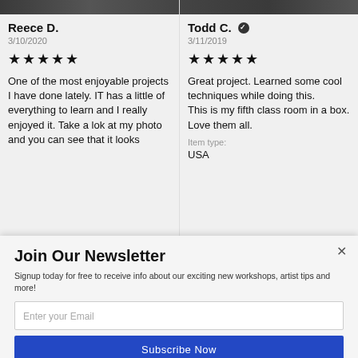[Figure (photo): Top strip of a landscape/night sky photo on the left review card]
Reece D.
3/10/2020
★★★★★
One of the most enjoyable projects I have done lately. IT has a little of everything to learn and I really enjoyed it. Take a lok at my photo and you can see that it looks
[Figure (photo): Top strip of a landscape/dark photo on the right review card]
Todd C. ✓
3/11/2019
★★★★★
Great project.  Learned some cool techniques while doing this.
This is my fifth class room in a box.  Love them all.
Item type:
USA
Join Our Newsletter
Signup today for free to receive info about our exciting new workshops, artist tips and more!
Enter your Email
Subscribe Now